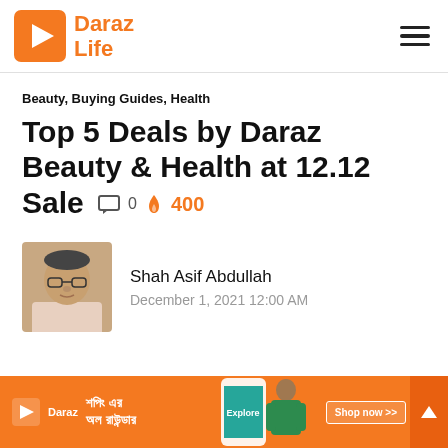[Figure (logo): Daraz Life logo with orange play button icon and orange text reading 'Daraz Life']
Beauty, Buying Guides, Health
Top 5 Deals by Daraz Beauty & Health at 12.12 Sale  0  400
[Figure (photo): Author photo: Shah Asif Abdullah, a man with glasses]
Shah Asif Abdullah
December 1, 2021 12:00 AM
[Figure (illustration): Daraz advertisement banner in orange with Bengali text 'শপিং এর অল রাউন্ডার', Daraz logo, phone image, and 'Shop now >>' button]